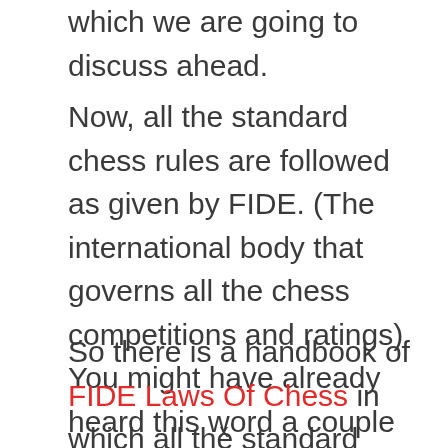which we are going to discuss ahead.
Now, all the standard chess rules are followed as given by FIDE. (The international body that governs all the chess competitions and ratings) You might have already heard this word a couple of times.
So there is a handbook of FIDE Laws Of Chess in which all the standard chess rules are mentioned in the form